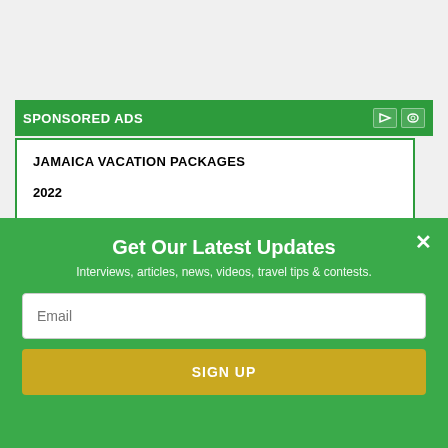SPONSORED ADS
JAMAICA VACATION PACKAGES
2022
JAMAICAN AIRFARE DEALS
Get Our Latest Updates
Interviews, articles, news, videos, travel tips & contests.
Email
SIGN UP